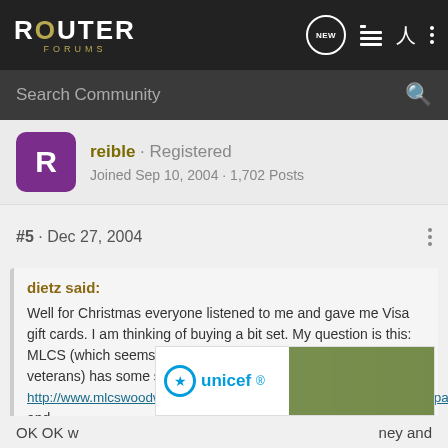ROUTER FORUMS
Search Community
reible · Registered
Joined Sep 10, 2004 · 1,702 Posts
#5 · Dec 27, 2004
dietz said:
Well for Christmas everyone listened to me and gave me Visa gift cards. I am thinking of buying a bit set. My question is this: MLCS (which seems to be a popular brand amongst you veterans) has some sets available -
http://www.mlcswoodworking.com/shopsite_sc/store/html/smarthtml/pages/set66.html and
http://www.mlcswoodworking.com/shopsite_sc/store/html/smarthtml/p
[Figure (photo): UNICEF advertisement banner with logo and photo of children]
OK OK w... ney and